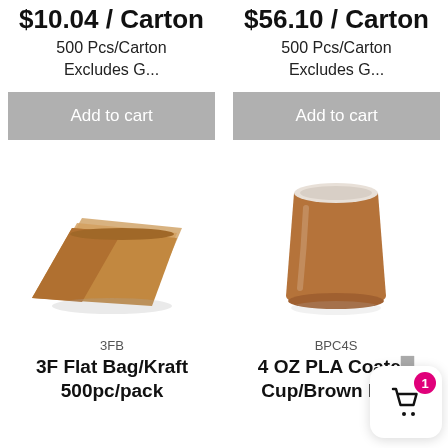$10.04 / Carton
500 Pcs/Carton
Excludes G...
Add to cart
$56.10 / Carton
500 Pcs/Carton
Excludes G...
Add to cart
[Figure (photo): Stack of kraft paper flat bags]
[Figure (photo): Brown kraft paper cup (4 OZ PLA coated)]
3FB
3F Flat Bag/Kraft 500pc/pack
BPC4S
4 OZ PLA Coate... Cup/Brown Pr...